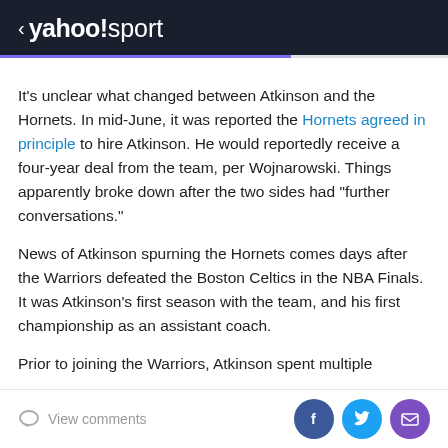< yahoo!sport
It's unclear what changed between Atkinson and the Hornets. In mid-June, it was reported the Hornets agreed in principle to hire Atkinson. He would reportedly receive a four-year deal from the team, per Wojnarowski. Things apparently broke down after the two sides had "further conversations."
News of Atkinson spurning the Hornets comes days after the Warriors defeated the Boston Celtics in the NBA Finals. It was Atkinson's first season with the team, and his first championship as an assistant coach.
Prior to joining the Warriors, Atkinson spent multiple
View comments